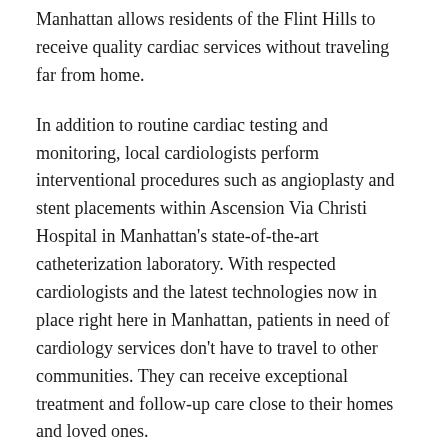Manhattan allows residents of the Flint Hills to receive quality cardiac services without traveling far from home.
In addition to routine cardiac testing and monitoring, local cardiologists perform interventional procedures such as angioplasty and stent placements within Ascension Via Christi Hospital in Manhattan's state-of-the-art catheterization laboratory. With respected cardiologists and the latest technologies now in place right here in Manhattan, patients in need of cardiology services don't have to travel to other communities. They can receive exceptional treatment and follow-up care close to their homes and loved ones.
Physical rehabilitation and therapy
Rehabilitation services at Ascension Via Christi Hospital in